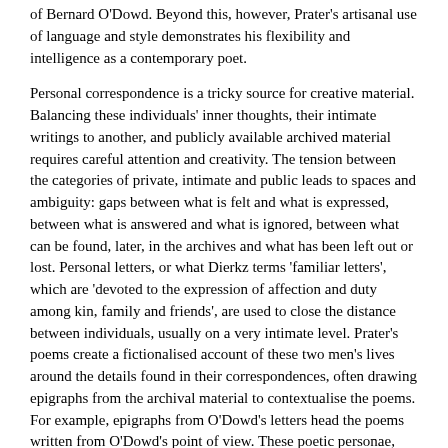of Bernard O'Dowd. Beyond this, however, Prater's artisanal use of language and style demonstrates his flexibility and intelligence as a contemporary poet.
Personal correspondence is a tricky source for creative material. Balancing these individuals' inner thoughts, their intimate writings to another, and publicly available archived material requires careful attention and creativity. The tension between the categories of private, intimate and public leads to spaces and ambiguity: gaps between what is felt and what is expressed, between what is answered and what is ignored, between what can be found, later, in the archives and what has been left out or lost. Personal letters, or what Dierkz terms 'familiar letters', which are 'devoted to the expression of affection and duty among kin, family and friends', are used to close the distance between individuals, usually on a very intimate level. Prater's poems create a fictionalised account of these two men's lives around the details found in their correspondences, often drawing epigraphs from the archival material to contextualise the poems. For example, epigraphs from O'Dowd's letters head the poems written from O'Dowd's point of view. These poetic personae, part real and part imagined, are vibrantly formed, with the O'Dowd persona in particular being marked by a clear and distinctive style. This collection is dominated by O'Dowd's voice – fittingly, perhaps, given the abundance of critical and creative material written on Whitman and the comparative dearth of writing by and on